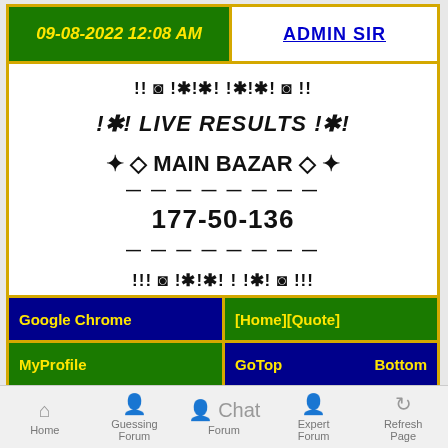09-08-2022 12:08 AM
ADMIN SIR
!! ◉ !✳!✱! !✱!✳! ◉ !!
!✳! LIVE RESULTS !✳!
✳◇ MAIN BAZAR ◇ ✳
———————
177-50-136
———————
!!! ◉ !✳!✱! ! !✳! ◉ !!!
Google Chrome
[Home][Quote]
MyProfile
GoTop    Bottom
Home  Guessing Forum  Chat Forum  Expert Forum  Refresh Page